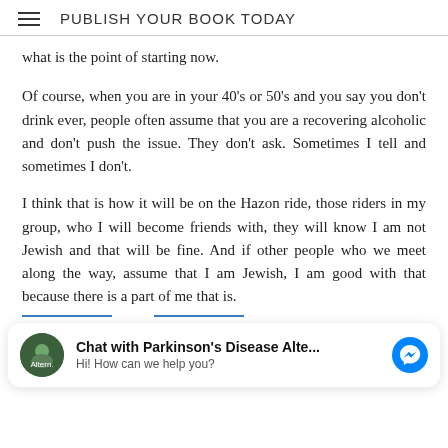PUBLISH YOUR BOOK TODAY
what is the point of starting now.
Of course, when you are in your 40's or 50's and you say you don't drink ever, people often assume that you are a recovering alcoholic and don't push the issue. They don't ask. Sometimes I tell and sometimes I don't.
I think that is how it will be on the Hazon ride, those riders in my group, who I will become friends with, they will know I am not Jewish and that will be fine. And if other people who we meet along the way, assume that I am Jewish, I am good with that because there is a part of me that is.
[Figure (screenshot): Chat widget: circular green avatar with text 'Chat with Parkinson's Disease Alte...' and subtext 'Hi! How can we help you?' with a blue Messenger icon on the right.]